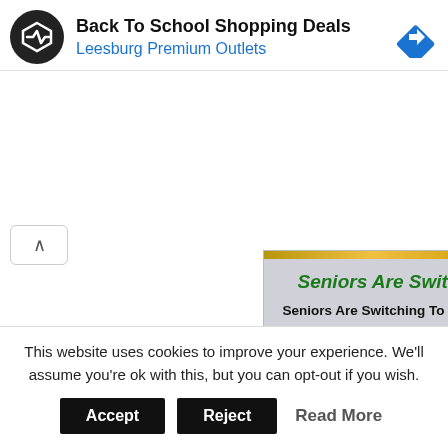[Figure (screenshot): Ad banner: Back To School Shopping Deals - Leesburg Premium Outlets with logo and navigation arrow icon]
[Figure (screenshot): Ad banner: Seniors Are Switching - Seniors Are Switching To Gold IRAs To Protect Their Assets. Find Out Why - CLICK HERE]
NOTTINGHAM, MD—Cheyenne Products Mainstay is recalling close to 800,000 folding chairs and barstools due to a fall hazard.
The recall involves multiple styles of metal folding chairs and
This website uses cookies to improve your experience. We'll assume you're ok with this, but you can opt-out if you wish.
Accept   Reject   Read More